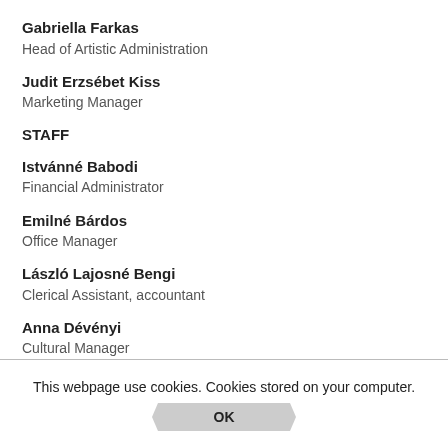Gabriella Farkas
Head of Artistic Administration
Judit Erzsébet Kiss
Marketing Manager
STAFF
Istvánné Babodi
Financial Administrator
Emilné Bárdos
Office Manager
László Lajosné Bengi
Clerical Assistant, accountant
Anna Dévényi
Cultural Manager
This webpage use cookies. Cookies stored on your computer.
OK